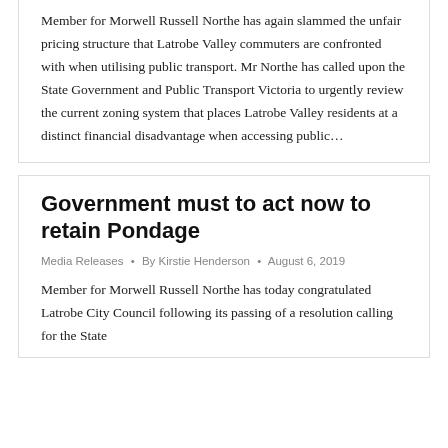Member for Morwell Russell Northe has again slammed the unfair pricing structure that Latrobe Valley commuters are confronted with when utilising public transport. Mr Northe has called upon the State Government and Public Transport Victoria to urgently review the current zoning system that places Latrobe Valley residents at a distinct financial disadvantage when accessing public…
Government must to act now to retain Pondage
Media Releases • By Kirstie Henderson • August 6, 2019
Member for Morwell Russell Northe has today congratulated Latrobe City Council following its passing of a resolution calling for the State